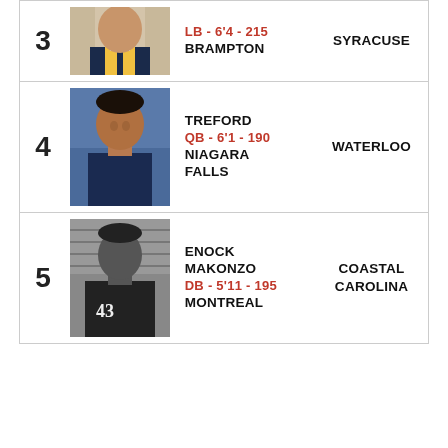| # | Photo | Player Info | School |
| --- | --- | --- | --- |
| 3 | [photo] | LB - 6'4 - 215 / BRAMPTON | SYRACUSE |
| 4 | [photo] | TREFORD / QB - 6'1 - 190 / NIAGARA FALLS | WATERLOO |
| 5 | [photo] | ENOCK MAKONZO / DB - 5'11 - 195 / MONTREAL | COASTAL CAROLINA |